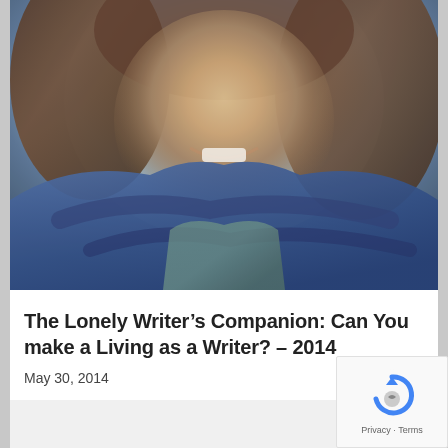[Figure (photo): Close-up photo of a smiling woman with brown curly hair wearing a blue scarf and teal top]
The Lonely Writer’s Companion: Can You make a Living as a Writer? – 2014
May 30, 2014
[Figure (other): Partial gray card/banner at bottom of page]
[Figure (logo): reCAPTCHA badge with Privacy and Terms links]